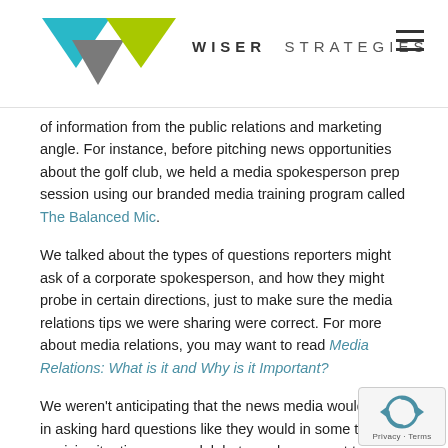WISER STRATEGIES
of information from the public relations and marketing angle. For instance, before pitching news opportunities about the golf club, we held a media spokesperson prep session using our branded media training program called The Balanced Mic.
We talked about the types of questions reporters might ask of a corporate spokesperson, and how they might probe in certain directions, just to make sure the media relations tips we were sharing were correct. For more about media relations, you may want to read Media Relations: What is it and Why is it Important?
We weren't anticipating that the news media would come in asking hard questions like they would in some type of a crisis situation or scandal, but we always want to prevent clients from being taken off guard by a random or challenging question that might come up.
Our veteran journalist turned public relations pro, shared with current information on what the media are looking for in Kent reinforcing much of what we already knew about their relentlessness in digging deeper and deeper if there is an opening.